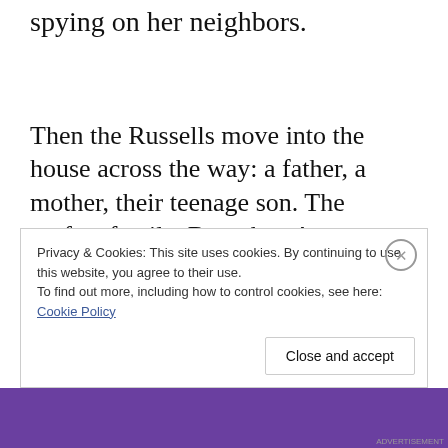the free, recalling happier times in and spying on her neighbors.
Then the Russells move into the house across the way: a father, a mother, their teenage son. The perfect family. But when Anna, gazing out her window one night, sees something she shouldn't, her
Privacy & Cookies: This site uses cookies. By continuing to use this website, you agree to their use.
To find out more, including how to control cookies, see here:
Cookie Policy
Close and accept